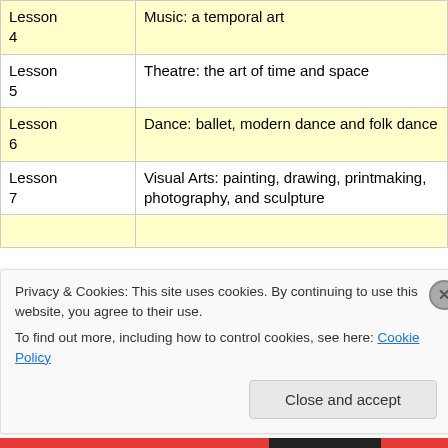| Lesson | Topic |
| --- | --- |
| Lesson 4 | Music: a temporal art |
| Lesson 5 | Theatre: the art of time and space |
| Lesson 6 | Dance: ballet, modern dance and folk dance |
| Lesson 7 | Visual Arts: painting, drawing, printmaking, photography, and sculpture |
Privacy & Cookies: This site uses cookies. By continuing to use this website, you agree to their use.
To find out more, including how to control cookies, see here: Cookie Policy
Close and accept